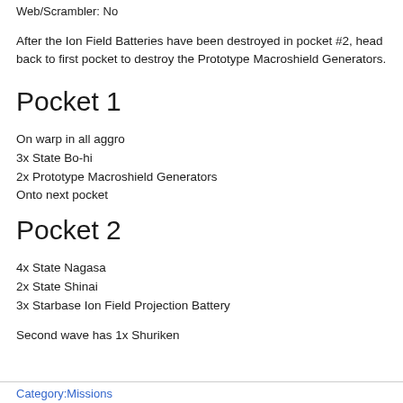Web/Scrambler: No
After the Ion Field Batteries have been destroyed in pocket #2, head back to first pocket to destroy the Prototype Macroshield Generators.
Pocket 1
On warp in all aggro
3x State Bo-hi
2x Prototype Macroshield Generators
Onto next pocket
Pocket 2
4x State Nagasa
2x State Shinai
3x Starbase Ion Field Projection Battery
Second wave has 1x Shuriken
Category:Missions